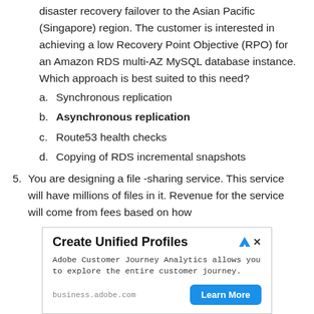disaster recovery failover to the Asian Pacific (Singapore) region. The customer is interested in achieving a low Recovery Point Objective (RPO) for an Amazon RDS multi-AZ MySQL database instance. Which approach is best suited to this need?
a. Synchronous replication
b. Asynchronous replication
c. Route53 health checks
d. Copying of RDS incremental snapshots
5. You are designing a file -sharing service. This service will have millions of files in it. Revenue for the service will come from fees based on how
[Figure (other): Advertisement banner for Adobe Customer Journey Analytics — 'Create Unified Profiles'. Adobe Customer Journey Analytics allows you to explore the entire customer journey. business.adobe.com | Learn More button.]